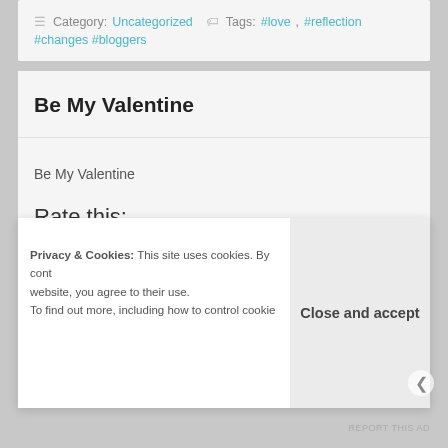Category: Uncategorized   Tags: #love, #reflection #changes #bloggers
Be My Valentine
Be My Valentine
Rate this:
Privacy & Cookies: This site uses cookies. By continuing to use this website, you agree to their use. To find out more, including how to control cookies,
Close and accept